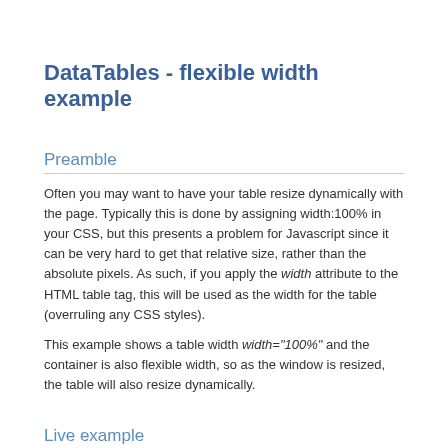DataTables - flexible width example
Preamble
Often you may want to have your table resize dynamically with the page. Typically this is done by assigning width:100% in your CSS, but this presents a problem for Javascript since it can be very hard to get that relative size, rather than the absolute pixels. As such, if you apply the width attribute to the HTML table tag, this will be used as the width for the table (overruling any CSS styles).
This example shows a table width width="100%" and the container is also flexible width, so as the window is resized, the table will also resize dynamically.
Live example